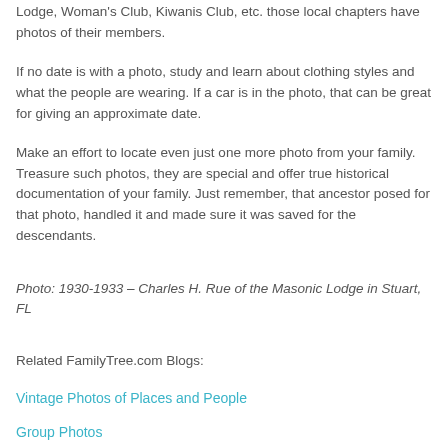Lodge, Woman's Club, Kiwanis Club, etc. those local chapters have photos of their members.
If no date is with a photo, study and learn about clothing styles and what the people are wearing. If a car is in the photo, that can be great for giving an approximate date.
Make an effort to locate even just one more photo from your family. Treasure such photos, they are special and offer true historical documentation of your family. Just remember, that ancestor posed for that photo, handled it and made sure it was saved for the descendants.
Photo: 1930-1933 – Charles H. Rue of the Masonic Lodge in Stuart, FL
Related FamilyTree.com Blogs:
Vintage Photos of Places and People
Group Photos
Awesome Family Photos